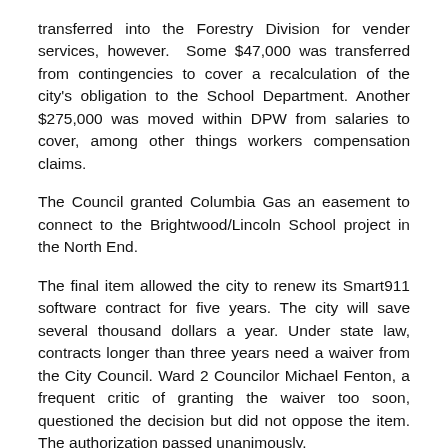transferred into the Forestry Division for vender services, however. Some $47,000 was transferred from contingencies to cover a recalculation of the city's obligation to the School Department. Another $275,000 was moved within DPW from salaries to cover, among other things workers compensation claims.
The Council granted Columbia Gas an easement to connect to the Brightwood/Lincoln School project in the North End.
The final item allowed the city to renew its Smart911 software contract for five years. The city will save several thousand dollars a year. Under state law, contracts longer than three years need a waiver from the City Council. Ward 2 Councilor Michael Fenton, a frequent critic of granting the waiver too soon, questioned the decision but did not oppose the item. The authorization passed unanimously.